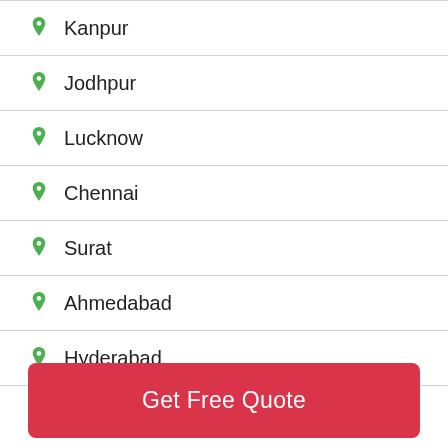Kanpur
Jodhpur
Lucknow
Chennai
Surat
Ahmedabad
Hyderabad
Get Free Quote